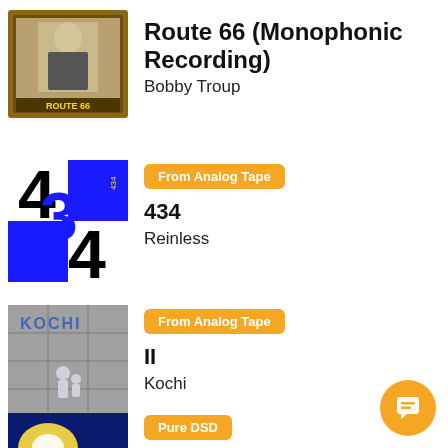[Figure (illustration): Album art for Route 66 (Monophonic Recording) by Bobby Troup — vintage photo of man in suit, gold frame, text ROUTE 66]
Route 66 (Monophonic Recording)
Bobby Troup
[Figure (illustration): Album art for 434 by Reinless — blue, black and white bold numbers 434]
From Analog Tape
434
Reinless
[Figure (illustration): Album art for II by Kochi — stone tiles floor with KOCHI text and child figure]
From Analog Tape
II
Kochi
[Figure (illustration): Album art for Day Three Take 1 (Pure DSD) — blue glowing light burst]
Pure DSD
Day Three Take 1 (Pure DSD)